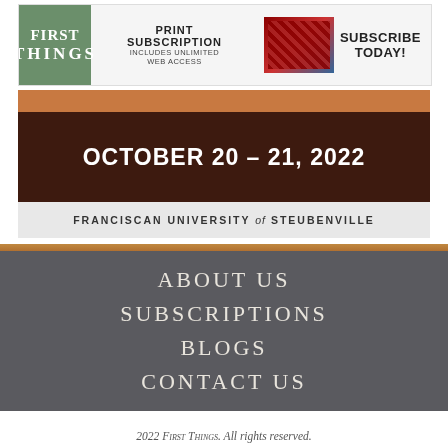[Figure (illustration): First Things magazine banner advertisement with green logo on left, 'PRINT SUBSCRIPTION INCLUDES UNLIMITED WEB ACCESS' text in center, magazine/device images, and 'SUBSCRIBE TODAY!' on right]
[Figure (illustration): Event promotional banner showing 'OCTOBER 20 – 21, 2022' in white bold text on dark brown background, with orange bar above and 'FRANCISCAN UNIVERSITY of STEUBENVILLE' in gray bar below]
ABOUT US
SUBSCRIPTIONS
BLOGS
CONTACT US
2022 First Things. All rights reserved.